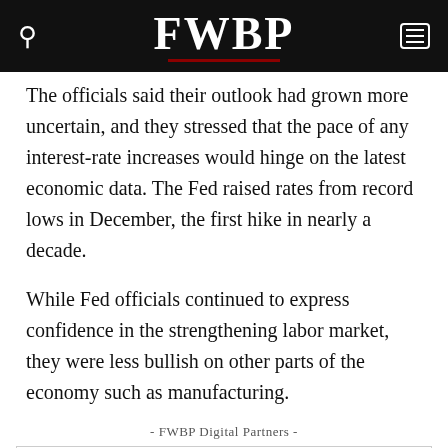FWBP
The officials said their outlook had grown more uncertain, and they stressed that the pace of any interest-rate increases would hinge on the latest economic data. The Fed raised rates from record lows in December, the first hike in nearly a decade.
While Fed officials continued to express confidence in the strengthening labor market, they were less bullish on other parts of the economy such as manufacturing.
- FWBP Digital Partners -
[Figure (logo): Fort Worth Stock Show & Rodeo logo and Kimbell Art Museum logo side by side in a bordered sponsor box]